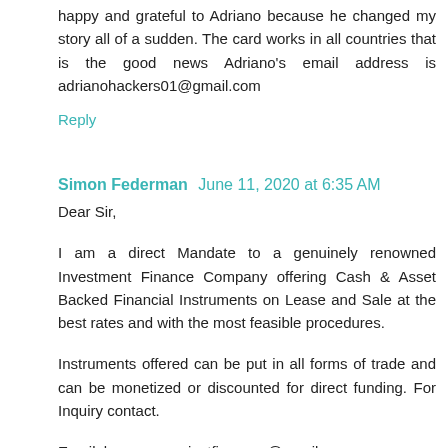happy and grateful to Adriano because he changed my story all of a sudden. The card works in all countries that is the good news Adriano's email address is adrianohackers01@gmail.com
Reply
Simon Federman  June 11, 2020 at 6:35 AM
Dear Sir,
I am a direct Mandate to a genuinely renowned Investment Finance Company offering Cash & Asset Backed Financial Instruments on Lease and Sale at the best rates and with the most feasible procedures.
Instruments offered can be put in all forms of trade and can be monetized or discounted for direct funding. For Inquiry contact.
Email: longmornprojectfinances@gmail.com
Skype: longmornprojectfinances@hotmail.com